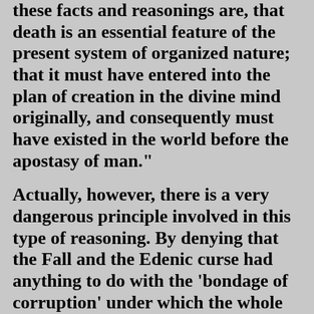these facts and reasonings are, that death is an essential feature of the present system of organized nature; that it must have entered into the plan of creation in the divine mind originally, and consequently must have existed in the world before the apostasy of man."
Actually, however, there is a very dangerous principle involved in this type of reasoning. By denying that the Fall and the Edenic curse had anything to do with the 'bondage of corruption' under which the whole creation now travails in pain, these scholars are driven logically to the position of ascribing the conditions of evil which we see around us, so far as the realm of nature is concerned, to the hand